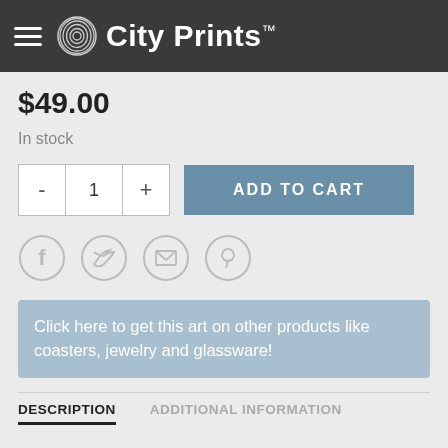City Prints™
$49.00
In stock
[Figure (screenshot): Quantity selector with minus button, 1, plus button, and ADD TO CART button]
[Figure (infographic): Social sharing icons: Facebook, Twitter, Email, Pinterest]
Click here to get this art on other products like coasters, jewelry and glassware!
DESCRIPTION	ADDITIONAL INFORMATION